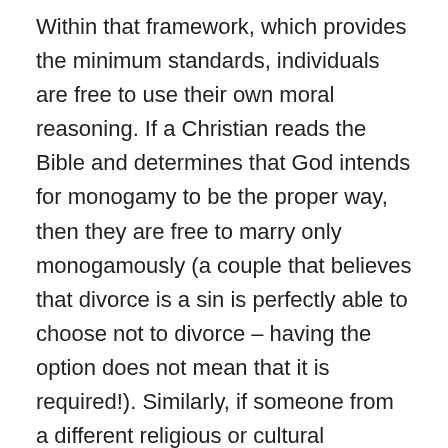Within that framework, which provides the minimum standards, individuals are free to use their own moral reasoning. If a Christian reads the Bible and determines that God intends for monogamy to be the proper way, then they are free to marry only monogamously (a couple that believes that divorce is a sin is perfectly able to choose not to divorce – having the option does not mean that it is required!). Similarly, if someone from a different religious or cultural standpoint believes that polygamy is best for them, then they should be able to pursue that life (provided that all the legal requirements regarding consent are met).
That way, we can all live together happily and